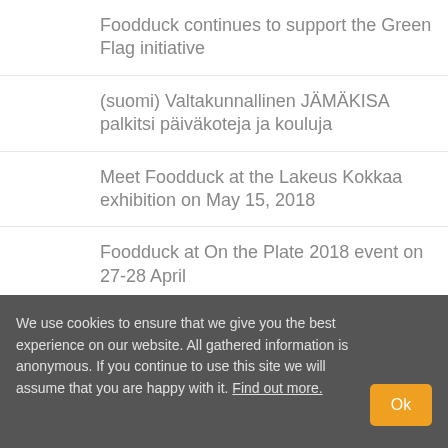Foodduck continues to support the Green Flag initiative
(suomi) Valtakunnallinen JÄMÄKISA palkitsi päiväkoteja ja kouluja
Meet Foodduck at the Lakeus Kokkaa exhibition on May 15, 2018
Foodduck at On the Plate 2018 event on 27-28 April
We use cookies to ensure that we give you the best experience on our website. All gathered information is anonymous. If you continue to use this site we will assume that you are happy with it. Find out more.